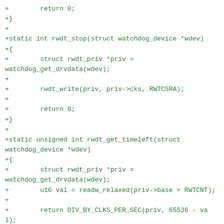+        return 0;
+}
+
+static int rwdt_stop(struct watchdog_device *wdev)
+{
+        struct rwdt_priv *priv = watchdog_get_drvdata(wdev);
+
+        rwdt_write(priv, priv->cks, RWTCSRA);
+
+        return 0;
+}
+
+static unsigned int rwdt_get_timeleft(struct watchdog_device *wdev)
+{
+        struct rwdt_priv *priv = watchdog_get_drvdata(wdev);
+        u16 val = readw_relaxed(priv->base + RWTCNT);
+
+        return DIV_BY_CLKS_PER_SEC(priv, 65536 - val);
+}
+
+static int rwdt_restart(struct watchdog_device *wdev, unsigned long action,
+                        void *data)
+{
+        struct rwdt_priv *priv = watchdog_get_drvdata(wdev);
+